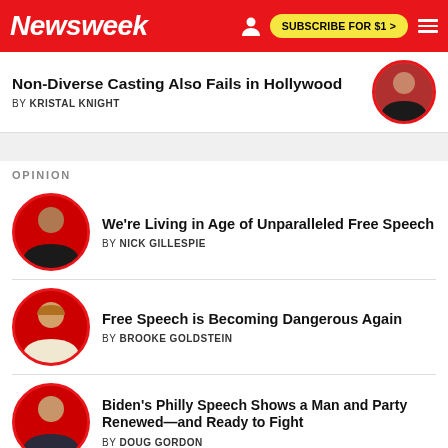Newsweek — SUBSCRIBE FOR $1 >
Non-Diverse Casting Also Fails in Hollywood
BY KRISTAL KNIGHT
OPINION
We're Living in Age of Unparalleled Free Speech
BY NICK GILLESPIE
Free Speech is Becoming Dangerous Again
BY BROOKE GOLDSTEIN
Biden's Philly Speech Shows a Man and Party Renewed—and Ready to Fight
BY DOUG GORDON